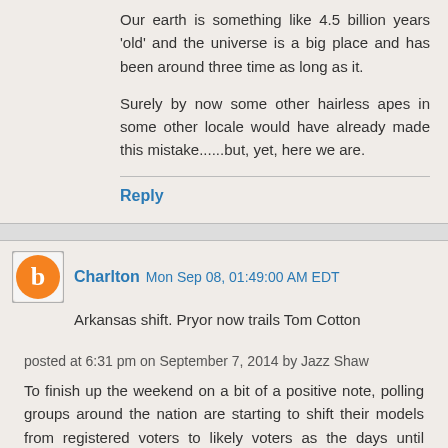Our earth is something like 4.5 billion years 'old' and the universe is a big place and has been around three time as long as it.
Surely by now some other hairless apes in some other locale would have already made this mistake......but, yet, here we are.
Reply
Charlton  Mon Sep 08, 01:49:00 AM EDT
Arkansas shift. Pryor now trails Tom Cotton
posted at 6:31 pm on September 7, 2014 by Jazz Shaw
To finish up the weekend on a bit of a positive note, polling groups around the nation are starting to shift their models from registered voters to likely voters as the days until November shrink. One in particular will be of interest and it is the bit here a next about of Arkansas attitude...